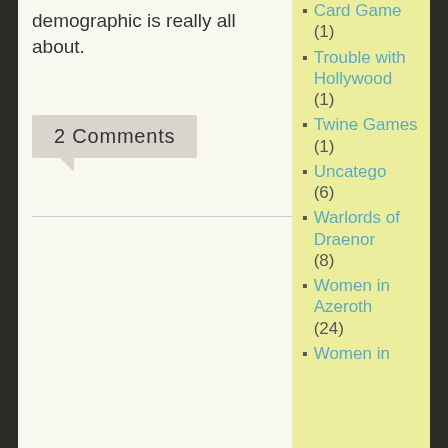demographic is really all about.
2 Comments
Card Game (1)
Trouble with Hollywood (1)
Twine Games (1)
Uncatego (6)
Warlords of Draenor (8)
Women in Azeroth (24)
Women in